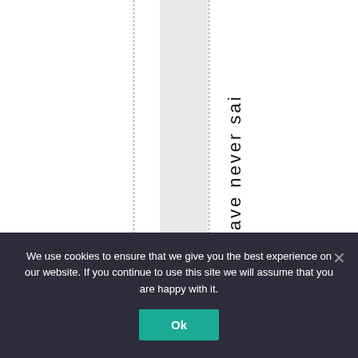tenup! I have never sai
We use cookies to ensure that we give you the best experience on our website. If you continue to use this site we will assume that you are happy with it.
Ok